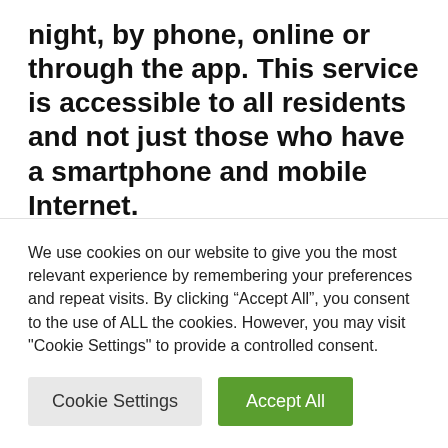night, by phone, online or through the app. This service is accessible to all residents and not just those who have a smartphone and mobile Internet.
The car can be loaned for a short time (an hour) or for a longer period (a day, a week or more). The user picks up the car at their location and returns it there
We use cookies on our website to give you the most relevant experience by remembering your preferences and repeat visits. By clicking “Accept All”, you consent to the use of ALL the cookies. However, you may visit "Cookie Settings" to provide a controlled consent.